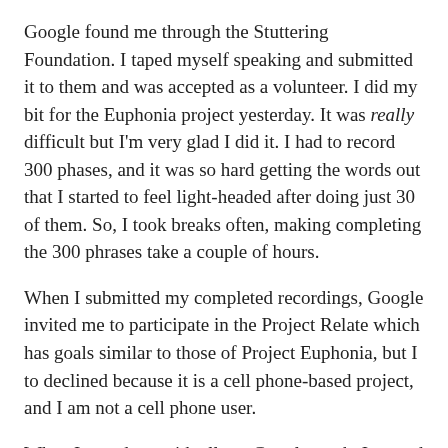Google found me through the Stuttering Foundation. I taped myself speaking and submitted it to them and was accepted as a volunteer. I did my bit for the Euphonia project yesterday. It was really difficult but I'm very glad I did it. I had to record 300 phases, and it was so hard getting the words out that I started to feel light-headed after doing just 30 of them. So, I took breaks often, making completing the 300 phrases take a couple of hours.
When I submitted my completed recordings, Google invited me to participate in the Project Relate which has goals similar to those of Project Euphonia, but I to declined because it is a cell phone-based project, and I am not a cell phone user.
When I was done with all my Google work, I started reading all the materials that the clinic sent me in advance of Sunday's meeting. I had financial statements to read, the agenda, constitutional and bylaw documents, past minutes, the strategic plan, governance policies and committee mandates. Plus, there was a lot of material about issues